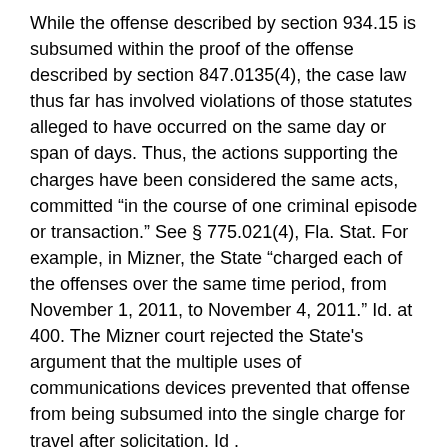While the offense described by section 934.15 is subsumed within the proof of the offense described by section 847.0135(4), the case law thus far has involved violations of those statutes alleged to have occurred on the same day or span of days. Thus, the actions supporting the charges have been considered the same acts, committed “in the course of one criminal episode or transaction.” See § 775.021(4), Fla. Stat. For example, in Mizner, the State “charged each of the offenses over the same time period, from November 1, 2011, to November 4, 2011.” Id. at 400. The Mizner court rejected the State's argument that the multiple uses of communications devices prevented that offense from being subsumed into the single charge for travel after solicitation. Id .
In Hamilton, the cell phone uses occurred “over three to four days in May of 2012” and the last element of the travel after solicitation occurred on May 4, 2012. Id. at 1278. Even